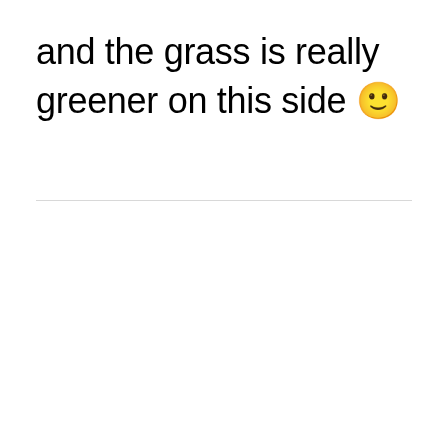and the grass is really greener on this side 🙂